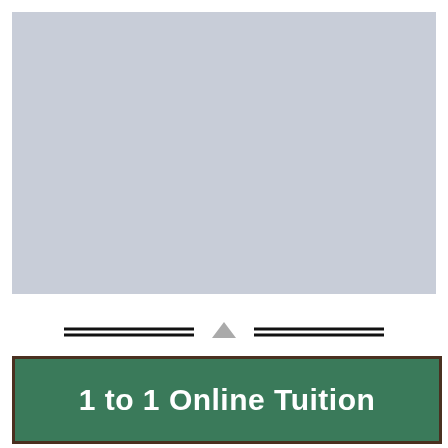[Figure (photo): Placeholder image with light blue-gray background, representing a photo or screenshot area]
[Figure (infographic): Divider with double horizontal lines on each side and a downward arrow in the center]
1 to 1 Online Tuition